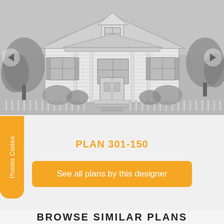[Figure (illustration): Architectural pencil sketch of a single-story cottage-style house with front porch, multiple windows, shutters, a central gabled dormer, picket fence in foreground, and landscaping with shrubs and trees on both sides. Navigation arrows on left and right sides.]
PLAN 301-150
See all plans by this designer
Promo Codes
BROWSE SIMILAR PLANS